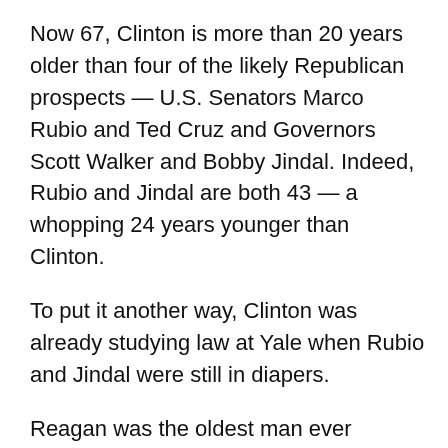Now 67, Clinton is more than 20 years older than four of the likely Republican prospects — U.S. Senators Marco Rubio and Ted Cruz and Governors Scott Walker and Bobby Jindal. Indeed, Rubio and Jindal are both 43 — a whopping 24 years younger than Clinton.
To put it another way, Clinton was already studying law at Yale when Rubio and Jindal were still in diapers.
Reagan was the oldest man ever elected to the presidency when he beat Jimmy Carter in 1980, but he was just 13 years older. In contrast, the average age of the 10 leading Republican prospects in 2016 is 52 — 15 years younger than Clinton.
In fact, only two of the likely candidates — former Texas Governor Rick Perry and former Florida Governor Jeb